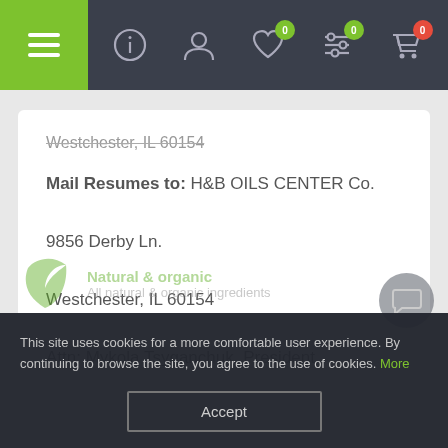Navigation bar with menu, info, account, wishlist (0), filters (0), cart (0) icons
Westchester, IL 60154
Mail Resumes to: H&B OILS CENTER Co.
9856 Derby Ln.
Westchester, IL 60154
Attn: Mykola Tsyganchuk, President
This site uses cookies for a more comfortable user experience. By continuing to browse the site, you agree to the use of cookies. More
Accept